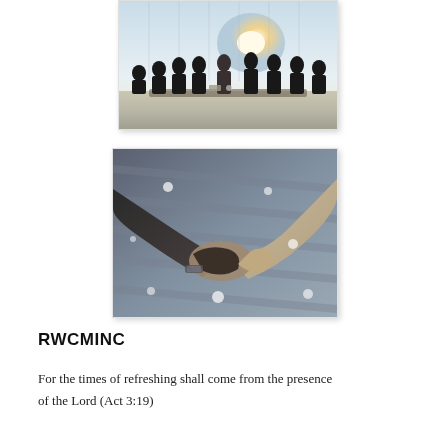[Figure (photo): Silhouettes of a group of business people standing at a conference table near large windows with bright sunlight in the background.]
[Figure (photo): Close-up of two people shaking hands, with a blurred building background and scattered light bokeh dots.]
RWCMINC
For the times of refreshing shall come from the presence of the Lord (Act 3:19)